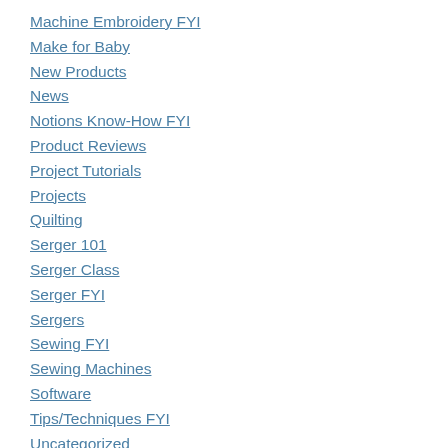Machine Embroidery FYI
Make for Baby
New Products
News
Notions Know-How FYI
Product Reviews
Project Tutorials
Projects
Quilting
Serger 101
Serger Class
Serger FYI
Sergers
Sewing FYI
Sewing Machines
Software
Tips/Techniques FYI
Uncategorized
Upcoming Events